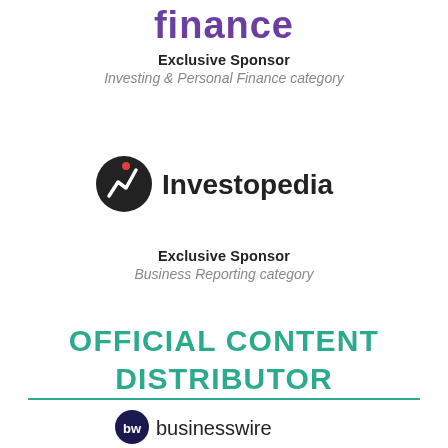[Figure (logo): Yahoo Finance logo in purple/violet text, partially visible at top of page]
Exclusive Sponsor
Investing & Personal Finance category
[Figure (logo): Investopedia logo with circular arrow icon and black text]
Exclusive Sponsor
Business Reporting category
OFFICIAL CONTENT DISTRIBUTOR
[Figure (logo): Business Wire logo with circular bw icon and businesswire text]